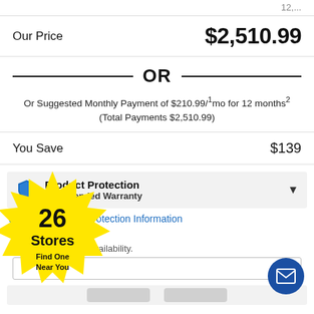Our Price    $2,510.99
OR
Or Suggested Monthly Payment of $210.99/1mo for 12 months2 (Total Payments $2,510.99)
You Save    $139
Product Protection
No Extended Warranty
View Our Product Protection Information
Code *
y options and item availability.
[Figure (infographic): Yellow starburst badge with text '26 Stores Find One Near You']
[Figure (infographic): Blue circular email/envelope button]